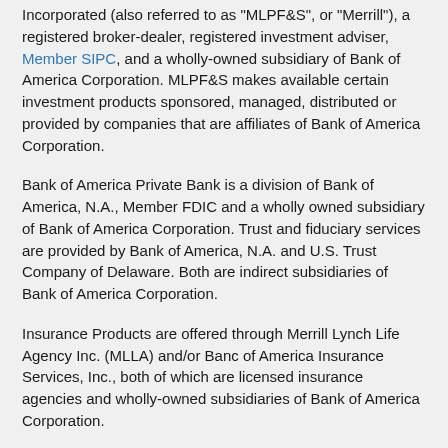Incorporated (also referred to as 'MLPF&S', or 'Merrill'), a registered broker-dealer, registered investment adviser, Member SIPC, and a wholly-owned subsidiary of Bank of America Corporation. MLPF&S makes available certain investment products sponsored, managed, distributed or provided by companies that are affiliates of Bank of America Corporation.
Bank of America Private Bank is a division of Bank of America, N.A., Member FDIC and a wholly owned subsidiary of Bank of America Corporation. Trust and fiduciary services are provided by Bank of America, N.A. and U.S. Trust Company of Delaware. Both are indirect subsidiaries of Bank of America Corporation.
Insurance Products are offered through Merrill Lynch Life Agency Inc. (MLLA) and/or Banc of America Insurance Services, Inc., both of which are licensed insurance agencies and wholly-owned subsidiaries of Bank of America Corporation.
Banking, credit card, automobile loans, mortgage and home equity products are provided by Bank of America, N.A. and affiliated banks, Members FDIC and wholly owned subsidiaries of Bank of America Corporation. Credit and collateral are subject to approval. Terms and conditions apply. This is not a commitment to lend. Programs, rates, terms